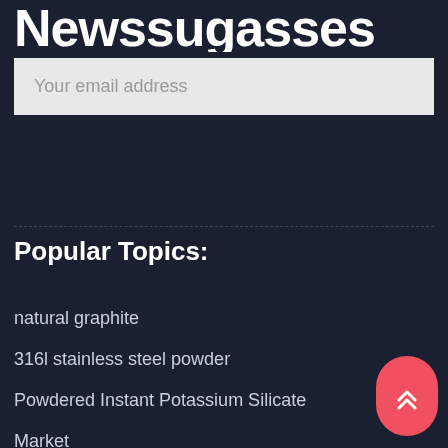Newssugasses
Your email address
Popular Topics:
natural graphite
316l stainless steel powder
Powdered Instant Potassium Silicate
Market